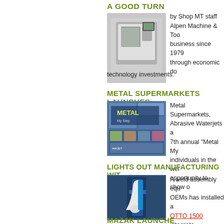A GOOD TURN
by Shop MT staff
[Figure (photo): CNC machine tool, metalworking lathe/mill]
Alpen Machine & Tool business since 1979 through economic do technology investments.
METAL SUPERMARKETS LAUNCHE
[Figure (photo): Metal Supermarkets Metal My Step event promotional image collage]
Metal Supermarkets, Abrasive Waterjets a 7th annual "Metal My individuals in the wel opportunity to show o
LIGHTS OUT MANUFACTURING WIT
[Figure (photo): Robotic weld assembly equipment in blue industrial setting]
A weld assembly equ OEMs has installed a OTTO 1500 integrate automate its black ox
MAZAK LAUNCH